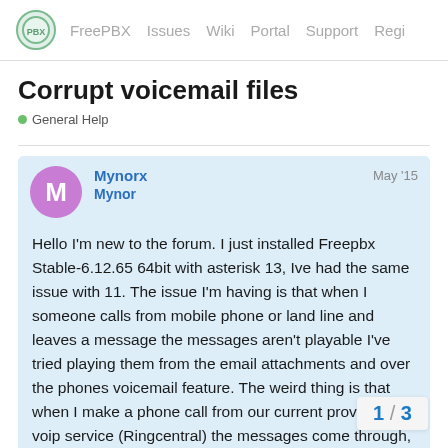FreePBX  Issues  Wiki  Portal  Support  Regi
Corrupt voicemail files
General Help
Mynorx Mynor  May '15

Hello I'm new to the forum. I just installed Freepbx Stable-6.12.65 64bit with asterisk 13, Ive had the same issue with 11. The issue I'm having is that when I someone calls from mobile phone or land line and leaves a message the messages aren't playable I've tried playing them from the email attachments and over the phones voicemail feature. The weird thing is that when I make a phone call from our current providers voip service (Ringcentral) the messages come through, I can play the attachment with no problems. I've had several people call me and leave test voice mails from all kinds of mobile phones regular land lines and none work. the files unplayable
1 / 3